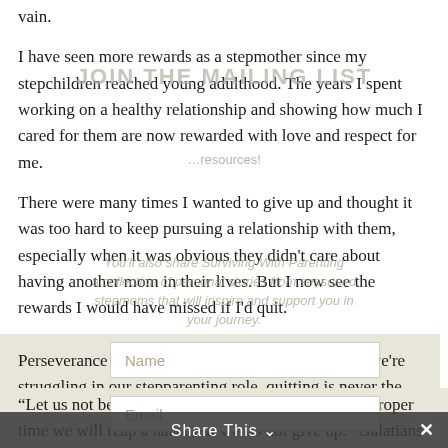vain.
I have seen more rewards as a stepmother since my stepchildren reached young adulthood. The years I spent working on a healthy relationship and showing how much I cared for them are now rewarded with love and respect for me.
There were many times I wanted to give up and thought it was too hard to keep pursuing a relationship with them, especially when it was obvious they didn't care about having another mom in their lives. But I now see the rewards I would have missed if I'd quit.
Perseverance is worth every effort we make. When we're struggling in our stepparenting role, quitting is never the answer.
“Let us not become weary in doing good, for at the proper time we will reap a harvest if we do not give up.” Galatians 6:9.
Share This